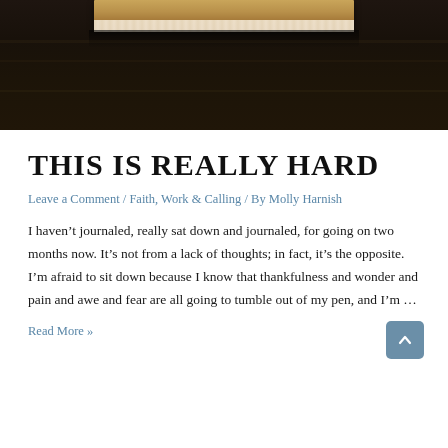[Figure (photo): Photo of stacked books on a dark wooden table, shot from above. The book spines and pages are visible at the top, with a dark brown wood grain surface filling the lower portion.]
THIS IS REALLY HARD
Leave a Comment / Faith, Work & Calling / By Molly Harnish
I haven't journaled, really sat down and journaled, for going on two months now. It's not from a lack of thoughts; in fact, it's the opposite. I'm afraid to sit down because I know that thankfulness and wonder and pain and awe and fear are all going to tumble out of my pen, and I'm …
Read More »